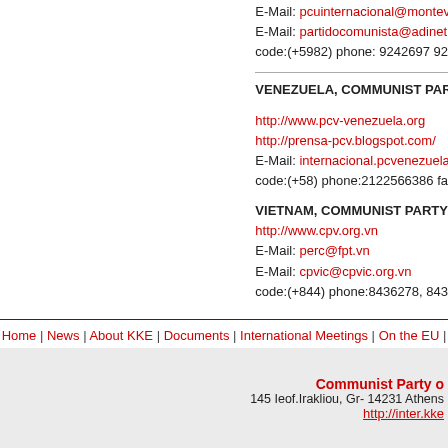E-Mail: pcuinternacional@montevide...
E-Mail: partidocomunista@adinet.co...
code:(+5982) phone: 9242697 9247...
VENEZUELA, COMMUNIST PARTY O...
http://www.pcv-venezuela.org
http://prensa-pcv.blogspot.com/
E-Mail: internacional.pcvenezuela@...
code:(+58) phone:2122566386 fax:2...
VIETNAM, COMMUNIST PARTY O...
http://www.cpv.org.vn
E-Mail: perc@fpt.vn
E-Mail: cpvic@cpvic.org.vn
code:(+844) phone:8436278, 84362...
Home | News | About KKE | Documents | International Meetings | On the EU |
Communist Party o... 145 Ieof.Irakliou, Gr- 14231 Athens http://inter.kke...